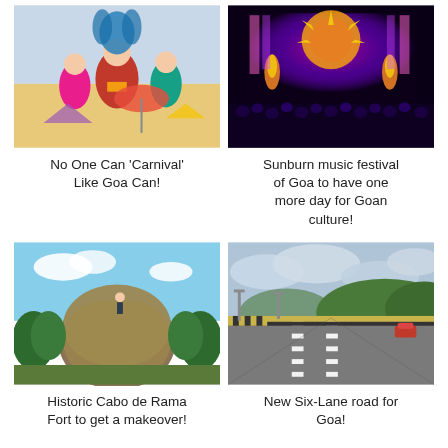[Figure (photo): People in colorful carnival costumes on a float, Goa Carnival]
No One Can ‘Carnival’ Like Goa Can!
[Figure (photo): Sunburn music festival stage with bright purple and orange lights and a large crowd]
Sunburn music festival of Goa to have one more day for Goan culture!
[Figure (photo): Cabo de Rama Fort area with dense vegetation and a person on top of a grass mound, blue sky]
Historic Cabo de Rama Fort to get a makeover!
[Figure (photo): New six-lane highway road in Goa with green hills and cloudy sky]
New Six-Lane road for Goa!